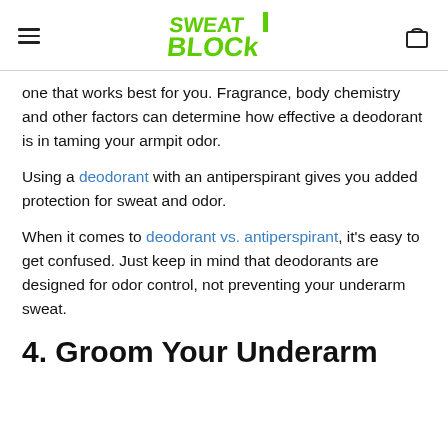SweatBlock logo with hamburger menu and cart icon
one that works best for you. Fragrance, body chemistry and other factors can determine how effective a deodorant is in taming your armpit odor.
Using a deodorant with an antiperspirant gives you added protection for sweat and odor.
When it comes to deodorant vs. antiperspirant, it's easy to get confused. Just keep in mind that deodorants are designed for odor control, not preventing your underarm sweat.
4. Groom Your Underarm